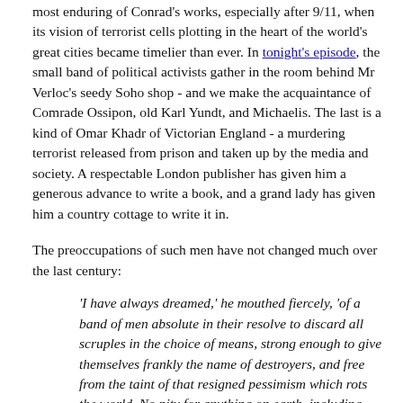most enduring of Conrad's works, especially after 9/11, when its vision of terrorist cells plotting in the heart of the world's great cities became timelier than ever. In tonight's episode, the small band of political activists gather in the room behind Mr Verloc's seedy Soho shop - and we make the acquaintance of Comrade Ossipon, old Karl Yundt, and Michaelis. The last is a kind of Omar Khadr of Victorian England - a murdering terrorist released from prison and taken up by the media and society. A respectable London publisher has given him a generous advance to write a book, and a grand lady has given him a country cottage to write it in.
The preoccupations of such men have not changed much over the last century:
'I have always dreamed,' he mouthed fiercely, 'of a band of men absolute in their resolve to discard all scruples in the choice of means, strong enough to give themselves frankly the name of destroyers, and free from the taint of that resigned pessimism which rots the world. No pity for anything on earth, including themselves, and death enlisted for good and all in the service of humanity—that's what I would have liked to see...'
The oldest terrorist and the darkest being in...